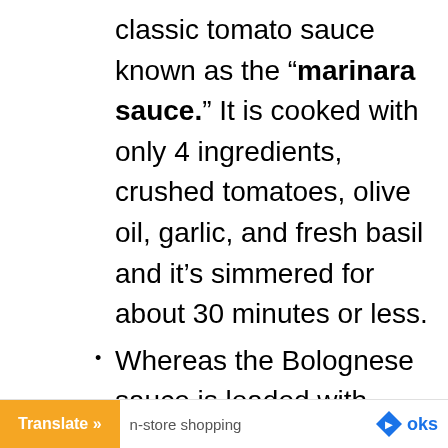classic tomato sauce known as the “marinara sauce.”  It is cooked with only 4 ingredients, crushed tomatoes, olive oil, garlic, and fresh basil and it’s simmered for about 30 minutes or less.
Whereas the Bolognese sauce is loaded with meat, vegetables, wine, fresh herbs, and canned tomatoes.  It’s a tomato sauce
Translate »   n-store shopping   oks